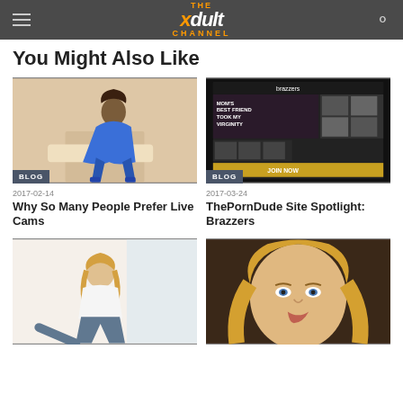THE xdult CHANNEL
You Might Also Like
[Figure (photo): Woman in blue latex catsuit posing]
[Figure (screenshot): Screenshot of Brazzers website]
2017-02-14
2017-03-24
Why So Many People Prefer Live Cams
ThePornDude Site Spotlight: Brazzers
[Figure (photo): Blonde woman in white top and jeans]
[Figure (photo): Blonde woman close-up portrait]